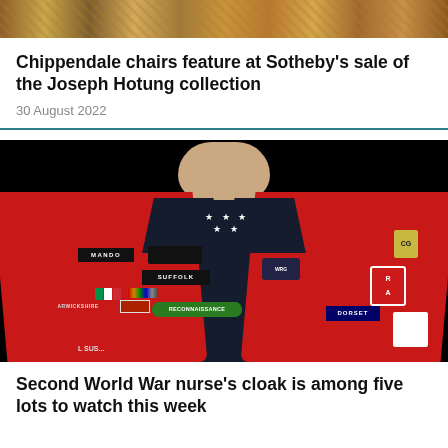[Figure (photo): Top portion of a decorative/colorful image, cropped at top of page]
Chippendale chairs feature at Sotheby's sale of the Joseph Hotung collection
30 August 2022
[Figure (photo): Person wearing a red military-badge-covered cloak/coat on a black background, showing various regimental patches including MANDO, SUFFOLK, RECONNAISSANCE, ARWICKSHIRE, DORSET and others]
Second World War nurse's cloak is among five lots to watch this week